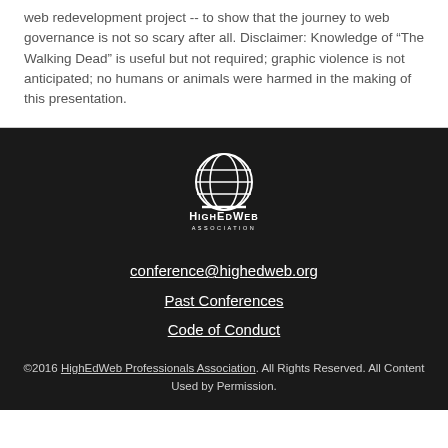web redevelopment project -- to show that the journey to web governance is not so scary after all. Disclaimer: Knowledge of “The Walking Dead” is useful but not required; graphic violence is not anticipated; no humans or animals were harmed in the making of this presentation.
[Figure (logo): HighEdWeb Association globe logo in white on dark background]
conference@highedweb.org
Past Conferences
Code of Conduct
©2016 HighEdWeb Professionals Association. All Rights Reserved. All Content Used by Permission.